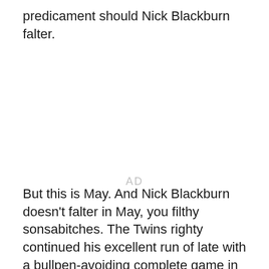predicament should Nick Blackburn falter.
AD
But this is May. And Nick Blackburn doesn't falter in May, you filthy sonsabitches. The Twins righty continued his excellent run of late with a bullpen-avoiding complete game in the Twins' 4-2 victory over Seattle.